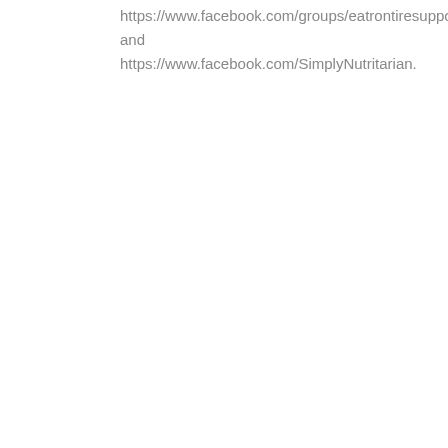https://www.facebook.com/groups/eatrontiresuppo and https://www.facebook.com/SimplyNutritarian.